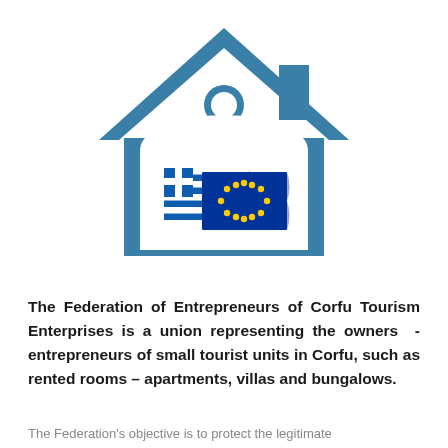[Figure (logo): House outline icon in steel blue with a circular window near the top and a chimney on the right side. Inside the house shape are two waving flags: the Greek flag (blue and white stripes with cross) and the EU flag (blue with yellow stars), overlapping each other.]
The Federation of Entrepreneurs of Corfu Tourism Enterprises is a union representing the owners - entrepreneurs of small tourist units in Corfu, such as rented rooms – apartments, villas and bungalows.
The Federation's objective is to protect the legitimate